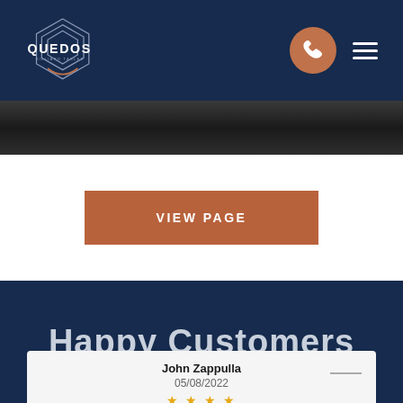[Figure (logo): Quedos Billiard Tables logo — geometric diamond/arrow shapes in white outline on dark navy background, with 'QUEDOS' text in white bold and 'BILLIARD TABLES' in smaller text below]
[Figure (photo): Dark stone/marble texture image band below header navigation]
VIEW PAGE
Happy Customers
John Zappulla
05/08/2022